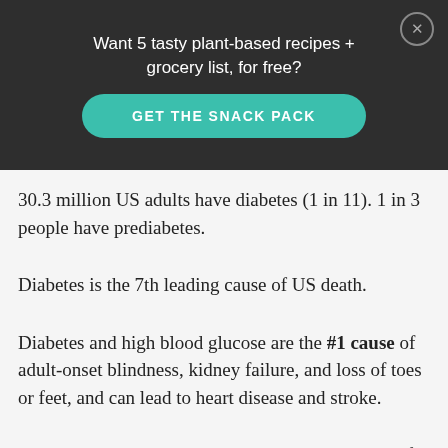Want 5 tasty plant-based recipes + grocery list, for free?
GET THE SNACK PACK
30.3 million US adults have diabetes (1 in 11). 1 in 3 people have prediabetes.
Diabetes is the 7th leading cause of US death.
Diabetes and high blood glucose are the #1 cause of adult-onset blindness, kidney failure, and loss of toes or feet, and can lead to heart disease and stroke.
People diagnosed with diabetes spend an average of $16,752/year on health care- about 2.3 times more than people without diabetes.